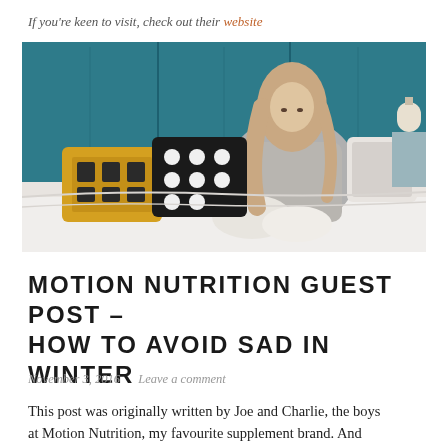If you're keen to visit, check out their website
[Figure (photo): Young woman with long hair sitting cross-legged on a bed with decorative pillows, wearing a grey knit sweater and white socks, against a teal velvet headboard]
MOTION NUTRITION GUEST POST – HOW TO AVOID SAD IN WINTER
November 3, 2016   Leave a comment
This post was originally written by Joe and Charlie, the boys at Motion Nutrition, my favourite supplement brand. And